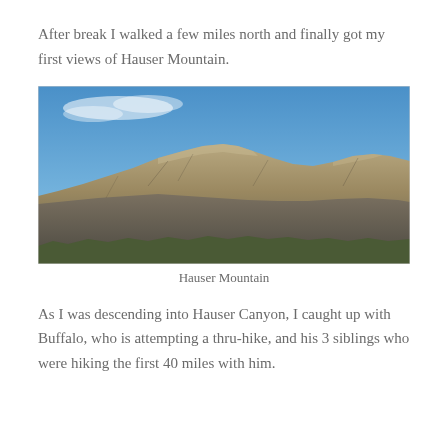After break I walked a few miles north and finally got my first views of Hauser Mountain.
[Figure (photo): Photograph of Hauser Mountain showing a rocky, rugged mountain ridge with sparse desert vegetation under a blue sky with light clouds.]
Hauser Mountain
As I was descending into Hauser Canyon, I caught up with Buffalo, who is attempting a thru-hike, and his 3 siblings who were hiking the first 40 miles with him.